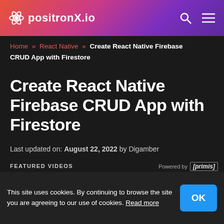positronX.io
Home » React Native » Create React Native Firebase CRUD App with Firestore
Create React Native Firebase CRUD App with Firestore
Last updated on: August 22, 2022 by Digamber
FEATURED VIDEOS  Powered by [primis]
[Figure (screenshot): Featured video player area showing a dark player with a red block, green vertical bars, and small control icons. A Bang TV channel thumbnail is visible in the top right corner, and a curved arrow icon in the bottom right.]
This site uses cookies. By continuing to browse the site you are agreeing to our use of cookies. Read more